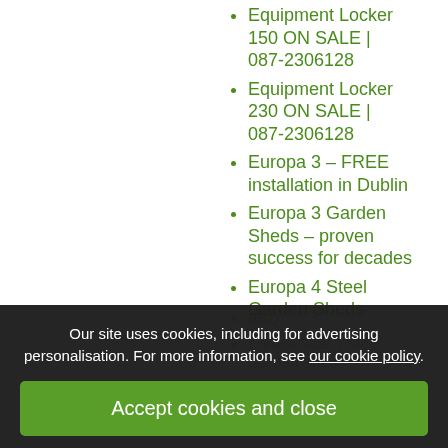Equipment Locker 150 ON SALE | 087-2306128
Equipment Locker 230 ON SALE | 087-2306128
Europa 3 – FREE installation in Dublin
Europa 3 Garden Sheds – proven success for decades
Europa 4 Steel Garden Sheds
Our site uses cookies, including for advertising personalisation. For more information, see our cookie policy.
Accept cookies and close
Reject cookies
Manage settings